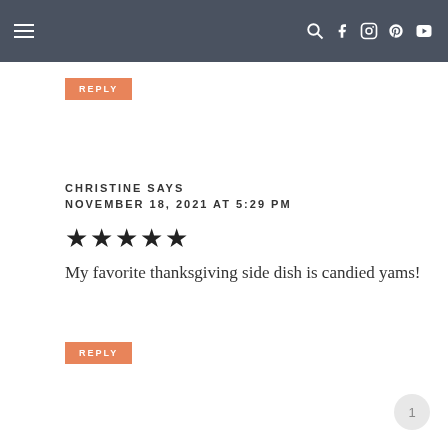navigation bar with hamburger menu and social icons
REPLY
CHRISTINE SAYS
NOVEMBER 18, 2021 AT 5:29 PM
[Figure (other): Five star rating icons (filled black stars)]
My favorite thanksgiving side dish is candied yams!
REPLY